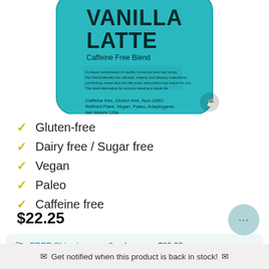[Figure (photo): Teal/cyan colored pouch bag of Vanilla Latte Caffeine Free Blend product, partially cropped at top]
Gluten-free
Dairy free / Sugar free
Vegan
Paleo
Caffeine free
$22.25
FREE Shipping on all orders over $99.00
Get notified when this product is back in stock!